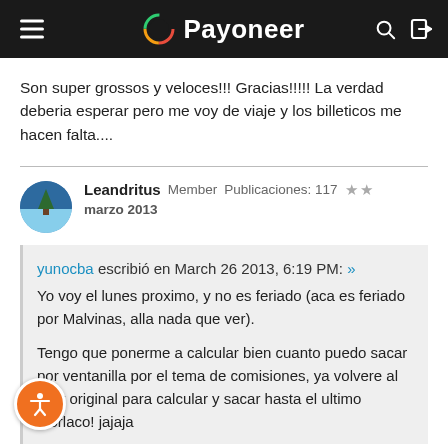Payoneer
Son super grossos y veloces!!! Gracias!!!!! La verdad deberia esperar pero me voy de viaje y los billeticos me hacen falta....
Leandritus Member Publicaciones: 117 ★★ marzo 2013
yunocba escribió en March 26 2013, 6:19 PM: » Yo voy el lunes proximo, y no es feriado (aca es feriado por Malvinas, alla nada que ver). Tengo que ponerme a calcular bien cuanto puedo sacar por ventanilla por el tema de comisiones, ya volvere al post original para calcular y sacar hasta el ultimo morlaco! jajaja